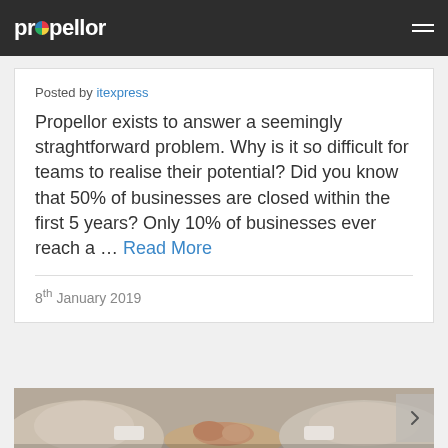propellor
Posted by itexpress
Propellor exists to answer a seemingly straghtforward problem. Why is it so difficult for teams to realise their potential? Did you know that 50% of businesses are closed within the first 5 years? Only 10% of businesses ever reach a … Read More
8th January 2019
[Figure (photo): People in business attire reaching hands into center for a group handshake or team huddle, viewed from above]